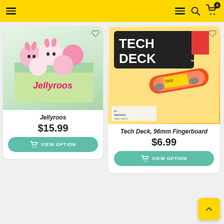Navigation header with hamburger menu, search, and cart icons on yellow background
[Figure (photo): Jellyroos unicorn squishy toys displayed in a box]
Jellyroos
$15.99
VIEW OPTION
[Figure (photo): Tech Deck 96mm Fingerboard product photo]
Tech Deck, 96mm Fingerboard
$6.99
VIEW OPTION